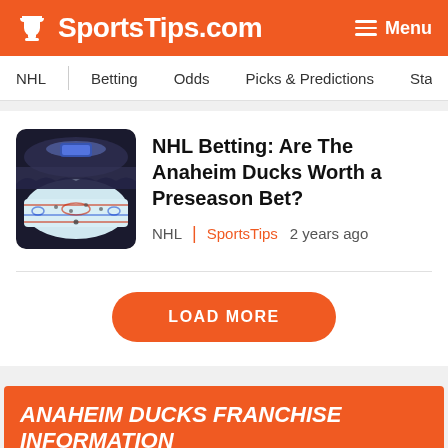SportsTips.com   Menu
NHL | Betting | Odds | Picks & Predictions | Sta...
NHL Betting: Are The Anaheim Ducks Worth a Preseason Bet?
NHL | SportsTips   2 years ago
LOAD MORE
ANAHEIM DUCKS FRANCHISE INFORMATION